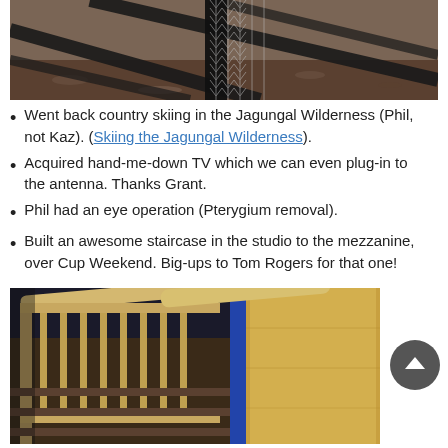[Figure (photo): Outdoor photo showing a fence post with chicken wire/hex mesh netting attached, dark fence rails casting shadows on dry ground with wood chips/bark debris]
Went back country skiing in the Jagungal Wilderness (Phil, not Kaz). (Skiing the Jagungal Wilderness).
Acquired hand-me-down TV which we can even plug-in to the antenna. Thanks Grant.
Phil had an eye operation (Pterygium removal).
Built an awesome staircase in the studio to the mezzanine, over Cup Weekend. Big-ups to Tom Rogers for that one!
[Figure (photo): Interior photo of a wooden staircase railing with vertical spindles, a diagonal handrail, and a yellow plywood wall with blue trim visible in the background]